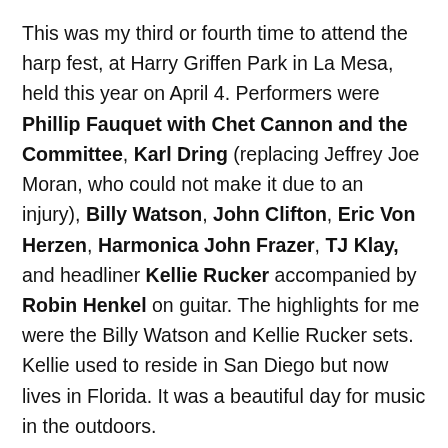This was my third or fourth time to attend the harp fest, at Harry Griffen Park in La Mesa, held this year on April 4. Performers were Phillip Fauquet with Chet Cannon and the Committee, Karl Dring (replacing Jeffrey Joe Moran, who could not make it due to an injury), Billy Watson, John Clifton, Eric Von Herzen, Harmonica John Frazer, TJ Klay, and headliner Kellie Rucker accompanied by Robin Henkel on guitar. The highlights for me were the Billy Watson and Kellie Rucker sets. Kellie used to reside in San Diego but now lives in Florida. It was a beautiful day for music in the outdoors.